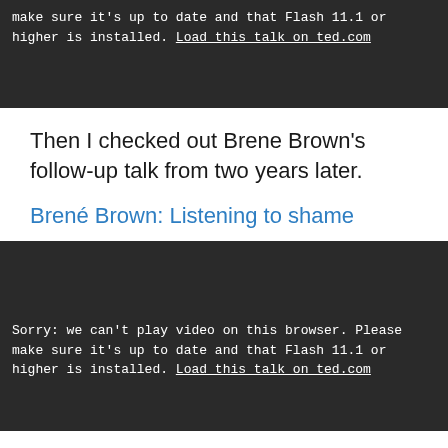[Figure (screenshot): Dark video player block showing error message with link to ted.com]
Then I checked out Brene Brown's follow-up talk from two years later.
Brené Brown: Listening to shame
[Figure (screenshot): Dark video player block showing error message with link to ted.com]